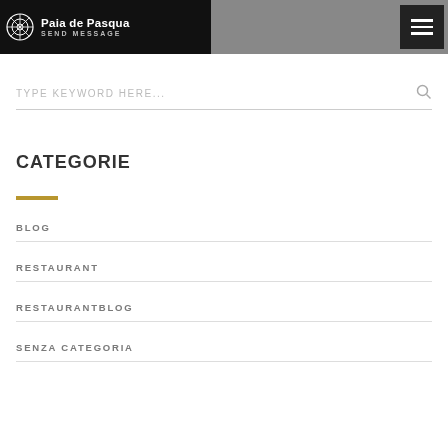Paia de Pasqua — SEND MESSAGE
TYPE KEYWORD HERE...
CATEGORIE
BLOG
RESTAURANT
RESTAURANTBLOG
SENZA CATEGORIA